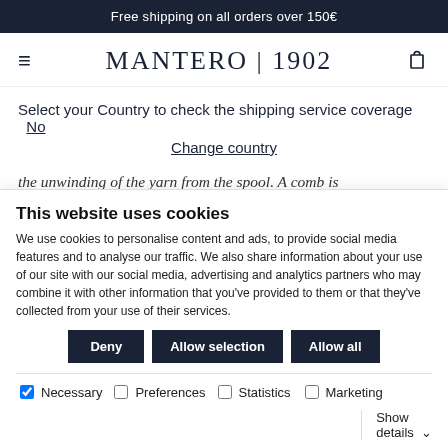Free shipping on all orders over 150€
[Figure (logo): Mantero 1902 logo with hamburger menu and cart icon]
Select your Country to check the shipping service coverage  No
Change country
the unwinding of the yarn from the spool. A comb is mounted and through this the evenly spaced chain strands pass, pushing each weft against the
This website uses cookies
We use cookies to personalise content and ads, to provide social media features and to analyse our traffic. We also share information about your use of our site with our social media, advertising and analytics partners who may combine it with other information that you've provided to them or that they've collected from your use of their services.
Deny  Allow selection  Allow all
Necessary  Preferences  Statistics  Marketing  Show details